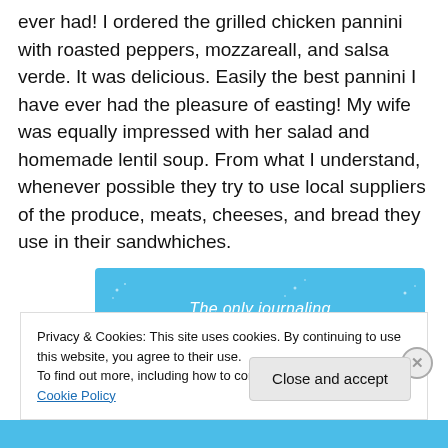ever had!  I ordered the grilled chicken pannini with roasted peppers, mozzareall, and salsa verde.  It was delicious.   Easily the best pannini I have ever had the pleasure of easting!  My wife was equally impressed with her salad and homemade lentil soup.  From what I understand, whenever possible they try to use local suppliers of the produce, meats, cheeses, and bread they use in their sandwhiches.
[Figure (other): Blue advertisement banner with white italic text: 'The only journaling app you'll ever need.' with small sparkle/star decorations]
Privacy & Cookies: This site uses cookies. By continuing to use this website, you agree to their use.
To find out more, including how to control cookies, see here: Cookie Policy